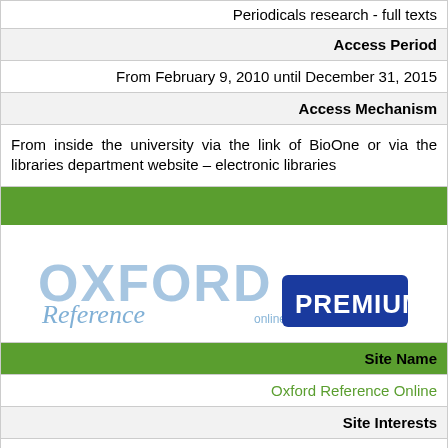| Periodicals research - full texts |
| Access Period |  |
| From February 9, 2010 until December 31, 2015 |
| Access Mechanism |  |
| From inside the university via the link of BioOne or via the libraries department website – electronic libraries |
[Figure (logo): Oxford Reference Online Premium logo — stylized blue OXFORD text with 'Reference' in italic and 'Online', plus a navy blue PREMIUM badge]
| Site Name |  |
| Oxford Reference Online |
| Site Interests |  |
| Art, architecture, bilingual dictionaries, biological sciences, classics, computing, earth and environmental sciences, economics & business encyclopedia, English dictionaries & thesauruses, English language reference, food & drink, history, law, literature, maps & illustrations, medicine, military history, mythology & folklore, names & places, natural history, performing arts, physical sciences & mathematics, politics & social sciences, pre-history, quotations, religion & philosophy, science |